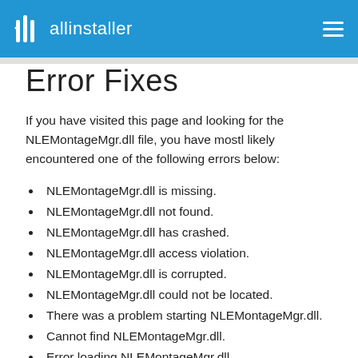allinstaller
Error Fixes
If you have visited this page and looking for the NLEMontageMgr.dll file, you have mostl likely encountered one of the following errors below:
NLEMontageMgr.dll is missing.
NLEMontageMgr.dll not found.
NLEMontageMgr.dll has crashed.
NLEMontageMgr.dll access violation.
NLEMontageMgr.dll is corrupted.
NLEMontageMgr.dll could not be located.
There was a problem starting NLEMontageMgr.dll.
Cannot find NLEMontageMgr.dll.
Error loading NLEMontageMgr.dll.
NLEMontageMgr.dll is either not designed to...